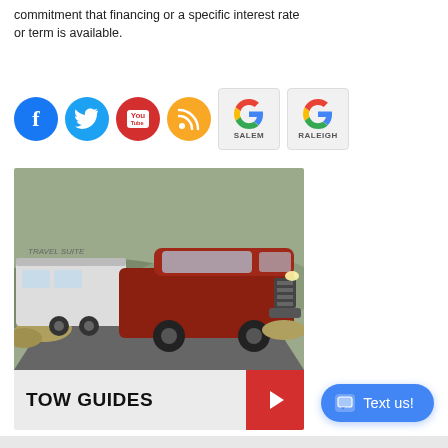commitment that financing or a specific interest rate or term is available.
[Figure (other): Row of social media icons: Facebook (blue circle), Twitter (light blue circle), YouTube (red circle with YouTube logo), RSS (orange circle), Google Salem (gray box with Google G), Google Raleigh (gray box with Google G)]
[Figure (photo): Photo of a red/maroon Ford F-150 pickup truck towing a white Travel Suite RV trailer on a road with desert brush in the background. Below the photo is a banner reading TOW GUIDES with a red arrow button on the right.]
Text us!